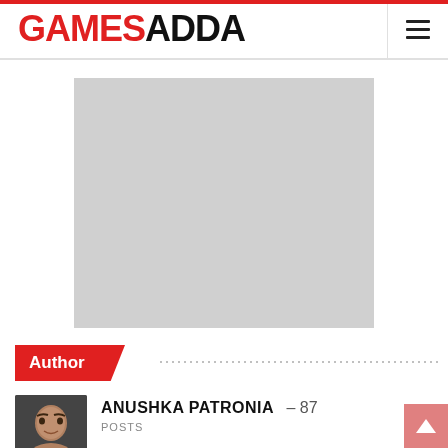GAMESADDA
[Figure (other): Gray placeholder rectangle for advertisement]
Author
[Figure (photo): Author photo of Anushka Patronia]
ANUSHKA PATRONIA — 87 POSTS